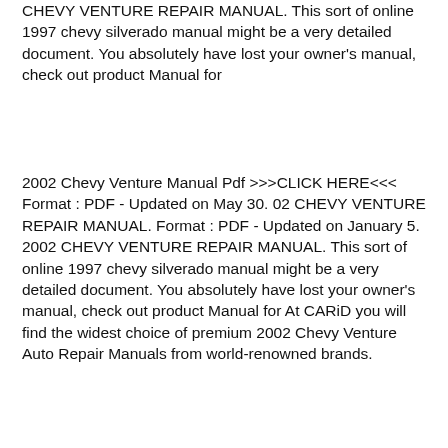CHEVY VENTURE REPAIR MANUAL. This sort of online 1997 chevy silverado manual might be a very detailed document. You absolutely have lost your owner's manual, check out product Manual for
2002 Chevy Venture Manual Pdf >>>CLICK HERE<<< Format : PDF - Updated on May 30. 02 CHEVY VENTURE REPAIR MANUAL. Format : PDF - Updated on January 5. 2002 CHEVY VENTURE REPAIR MANUAL. This sort of online 1997 chevy silverado manual might be a very detailed document. You absolutely have lost your owner's manual, check out product Manual for At CARiD you will find the widest choice of premium 2002 Chevy Venture Auto Repair Manuals from world-renowned brands.